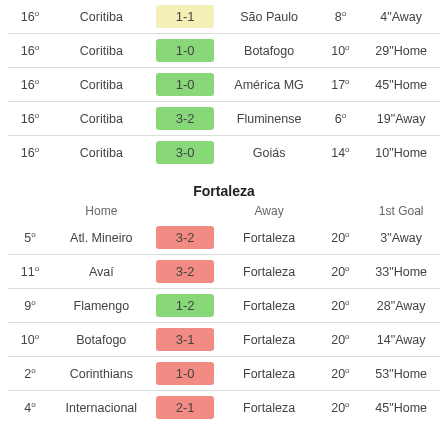|  | Home | Score | Away |  | 1st Goal |
| --- | --- | --- | --- | --- | --- |
| 16º | Coritiba | 1-1 | São Paulo | 8º | 4"Away |
| 16º | Coritiba | 1-0 | Botafogo | 10º | 29"Home |
| 16º | Coritiba | 1-0 | América MG | 17º | 45"Home |
| 16º | Coritiba | 3-2 | Fluminense | 6º | 19"Away |
| 16º | Coritiba | 3-0 | Goiás | 14º | 10"Home |
Fortaleza
|  | Home | Score | Away |  | 1st Goal |
| --- | --- | --- | --- | --- | --- |
| 5º | Atl. Mineiro | 3-2 | Fortaleza | 20º | 3"Away |
| 11º | Avaí | 3-2 | Fortaleza | 20º | 33"Home |
| 9º | Flamengo | 1-2 | Fortaleza | 20º | 28"Away |
| 10º | Botafogo | 3-1 | Fortaleza | 20º | 14"Away |
| 2º | Corinthians | 1-0 | Fortaleza | 20º | 53"Home |
| 4º | Internacional | 2-1 | Fortaleza | 20º | 45"Home |